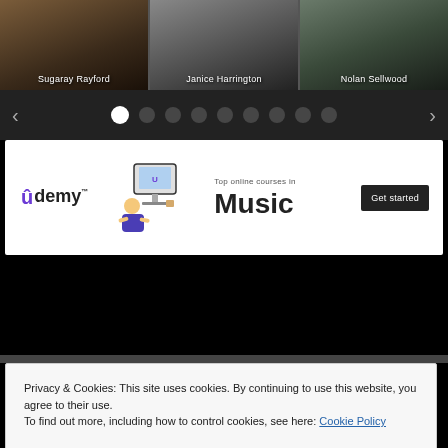[Figure (photo): Three musician photos in a strip: Sugaray Rayford, Janice Harrington, Nolan Sellwood]
[Figure (screenshot): Udemy advertisement banner for top online courses in Music with Get started button]
Privacy & Cookies: This site uses cookies. By continuing to use this website, you agree to their use.
To find out more, including how to control cookies, see here: Cookie Policy
Close and accept